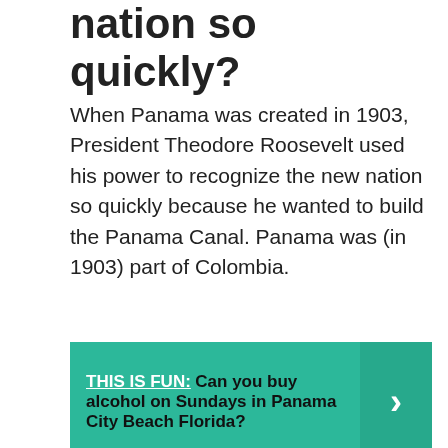nation so quickly?
When Panama was created in 1903, President Theodore Roosevelt used his power to recognize the new nation so quickly because he wanted to build the Panama Canal. Panama was (in 1903) part of Colombia.
[Figure (infographic): Teal/green banner with text: THIS IS FUN: Can you buy alcohol on Sundays in Panama City Beach Florida? with a right-arrow chevron button on the right side.]
How did Panama separate from Colombia?
With the support of the U.S. government, Panama issues a declaration of